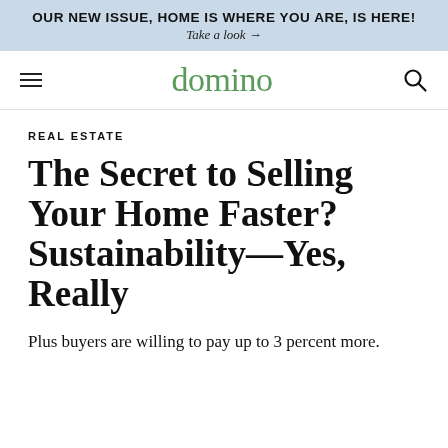OUR NEW ISSUE, HOME IS WHERE YOU ARE, IS HERE!
Take a look →
domino
REAL ESTATE
The Secret to Selling Your Home Faster? Sustainability—Yes, Really
Plus buyers are willing to pay up to 3 percent more.